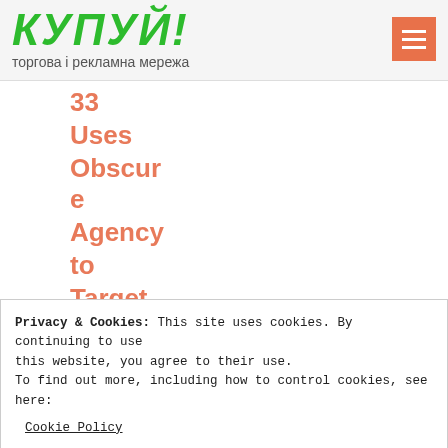КУПУЙ! торгова і рекламна мережа
33
Uses
Obscure
Agency
to
Target
Chinese
Privacy & Cookies: This site uses cookies. By continuing to use this website, you agree to their use.
To find out more, including how to control cookies, see here:
Cookie Policy
close and accept
virtually